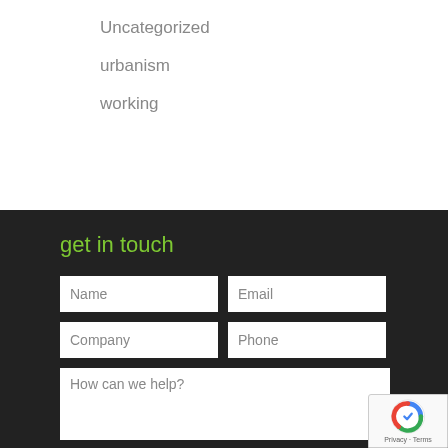Uncategorized
urbanism
working
get in touch
[Figure (screenshot): Contact form with Name, Email, Company, Phone input fields and a How can we help? textarea, on dark background, with reCAPTCHA badge]